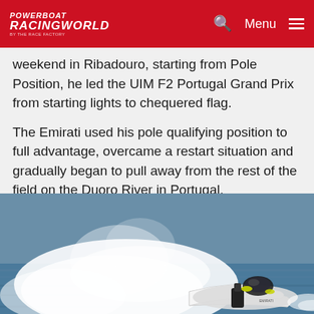POWERBOAT RACINGWORLD — Menu
weekend in Ribadouro, starting from Pole Position, he led the UIM F2 Portugal Grand Prix from starting lights to chequered flag.
The Emirati used his pole qualifying position to full advantage, overcame a restart situation and gradually began to pull away from the rest of the field on the Duoro River in Portugal.
[Figure (photo): A powerboat racing at high speed on the Duoro River, creating a large spray of water, with a helmeted driver visible in the cockpit.]